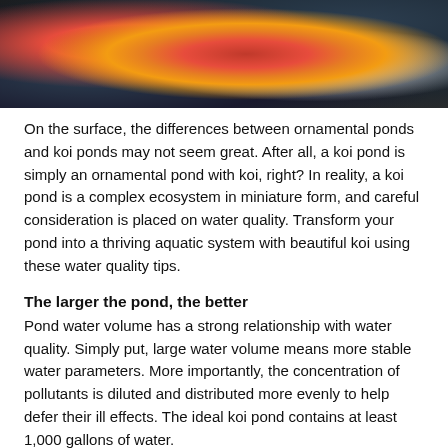[Figure (photo): Close-up photo of koi fish with red, orange, white, and black coloring against a dark background]
On the surface, the differences between ornamental ponds and koi ponds may not seem great. After all, a koi pond is simply an ornamental pond with koi, right? In reality, a koi pond is a complex ecosystem in miniature form, and careful consideration is placed on water quality. Transform your pond into a thriving aquatic system with beautiful koi using these water quality tips.
The larger the pond, the better
Pond water volume has a strong relationship with water quality. Simply put, large water volume means more stable water parameters. More importantly, the concentration of pollutants is diluted and distributed more evenly to help defer their ill effects. The ideal koi pond contains at least 1,000 gallons of water.
Efficient filtration
Filtration systems for koi ponds should filter or turn over the entire water volume at least twice an hour. There should be an emphasis on biological filtration to ensure efficient breakdown of nitrogen waste products. Fortify biological filtration with bacterial additives such as our Live Nitrifying Bacteria.